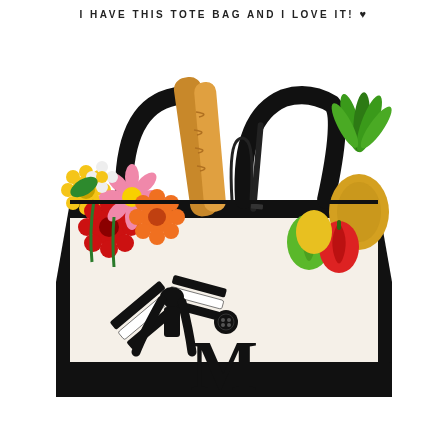I HAVE THIS TOTE BAG AND I LOVE IT! ♥
[Figure (photo): A large canvas tote bag with black bottom panel and black handles, featuring a bold monogram letter 'M' on the front, a black and white striped ribbon bow with a black button, filled with colorful flowers (red, pink, orange, yellow gerbera daisies), bread/baguettes, vegetables (peppers, leafy greens), and a pineapple top. White background product photo.]